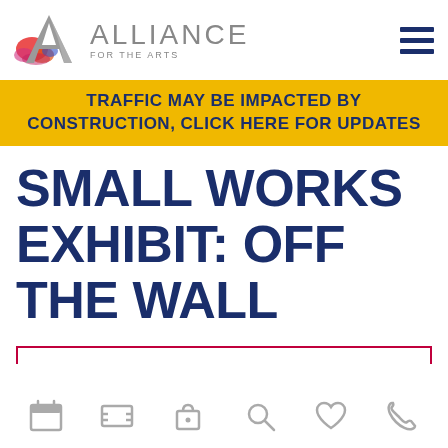[Figure (logo): Alliance for the Arts logo with colorful A icon and grey ALLIANCE FOR THE ARTS text, plus hamburger menu icon]
TRAFFIC MAY BE IMPACTED BY CONSTRUCTION, CLICK HERE FOR UPDATES
SMALL WORKS EXHIBIT: OFF THE WALL
[Figure (other): Red rectangular border (top and sides only, no bottom) forming a frame]
[Figure (other): Bottom navigation bar with grey icons: calendar, image/ticket, bag/lock, search, heart, phone]